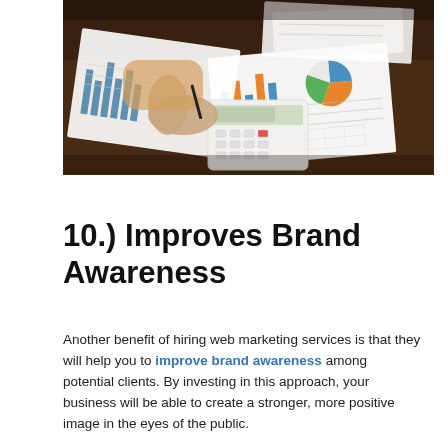[Figure (photo): A person using a calculator at a desk with financial charts, graphs, and reports spread out on the table. Charts include bar charts, pie charts, and data tables.]
10.) Improves Brand Awareness
Another benefit of hiring web marketing services is that they will help you to improve brand awareness among potential clients. By investing in this approach, your business will be able to create a stronger, more positive image in the eyes of the public.